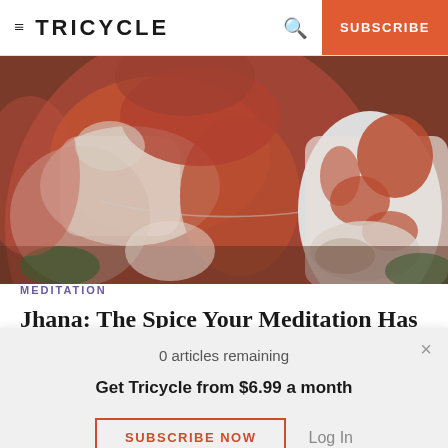≡ TRICYCLE  🔍  SUBSCRIBE
[Figure (photo): Photograph of weathered Buddhist statues with peeling red and white paint, showing close-up torso of large statue and smaller seated meditation figure to the right.]
MEDITATION
Jhana: The Spice Your Meditation Has Been
0 articles remaining
Get Tricycle from $6.99 a month
SUBSCRIBE NOW
Log In